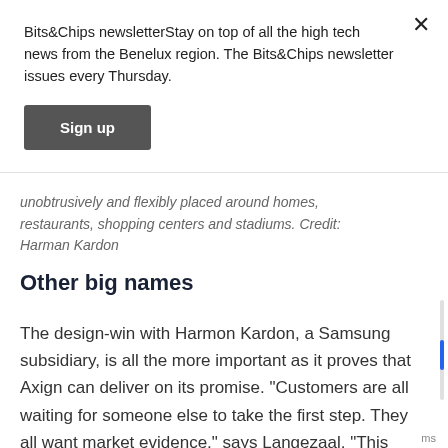Bits&Chips newsletterStay on top of all the high tech news from the Benelux region. The Bits&Chips newsletter issues every Thursday.
Sign up
unobtrusively and flexibly placed around homes, restaurants, shopping centers and stadiums. Credit: Harman Kardon
Other big names
The design-win with Harmon Kardon, a Samsung subsidiary, is all the more important as it proves that Axign can deliver on its promise. “Customers are all waiting for someone else to take the first step. They all want market evidence,” says Langezaal. “This shows we’re not a one-day fly.”